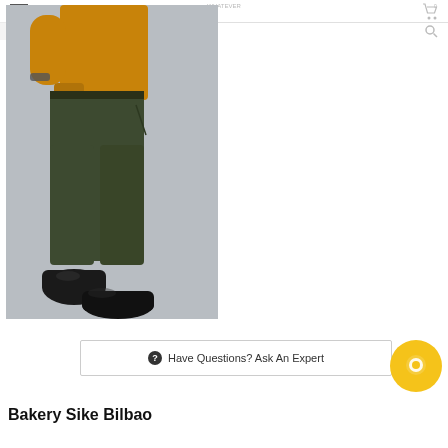[Figure (photo): A man wearing a mustard/amber knit sweater and dark olive green slim-fit chino trousers with black Chelsea boots, photographed from the side against a grey background.]
Search
Have Questions? Ask An Expert
Bakery Sike Bilbao